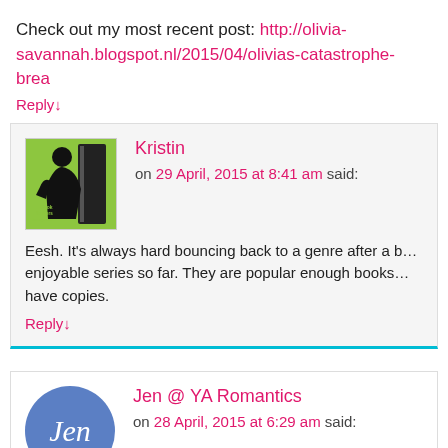Check out my most recent post: http://olivia-savannah.blogspot.nl/2015/04/olivias-catastrophe-brea...
Reply↓
Kristin
on 29 April, 2015 at 8:41 am said:
Eesh. It's always hard bouncing back to a genre after a b... enjoyable series so far. They are popular enough books... have copies.
Reply↓
Jen @ YA Romantics
on 28 April, 2015 at 6:29 am said:
I don't read a lot of UF, but I've heard great things about...